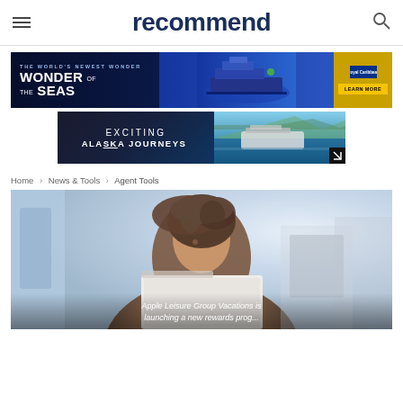recommend
[Figure (infographic): Royal Caribbean Wonder of the Seas advertisement banner - dark navy background with ship imagery and gold Learn More button]
[Figure (infographic): Exciting Alaska Journeys advertisement banner - dark left panel with text, right panel showing cruise ship on blue water with mountains]
Home › News & Tools › Agent Tools
[Figure (photo): Woman with curly hair looking down at screen in office setting, wearing white sleeveless top and teal/gold necklace]
Apple Leisure Group Vacations is launching a new rewards prog...